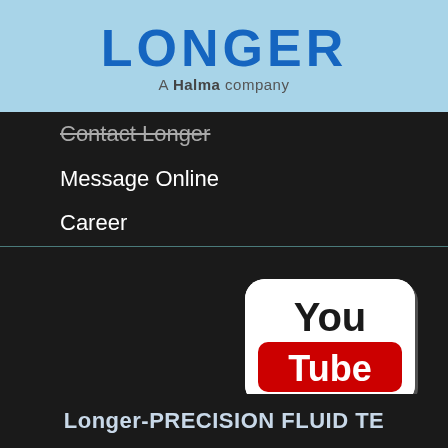[Figure (logo): LONGER logo with 'A Halma company' tagline on light blue background]
Contact Longer
Message Online
Career
[Figure (logo): YouTube logo icon — white rounded square with 'You' in black and 'Tube' in red rounded rectangle]
Longer-PRECISION FLUID TE